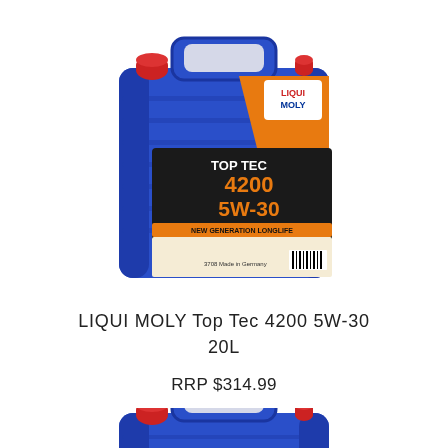[Figure (photo): LIQUI MOLY Top Tec 4200 5W-30 20L blue plastic oil canister with orange and black label, red caps, carrying handle, barcode on front]
LIQUI MOLY Top Tec 4200 5W-30
20L
RRP $314.99
[Figure (photo): Partial view of a second LIQUI MOLY Top Tec 4200 5W-30 blue oil canister, cropped at bottom of page, showing top portion with red caps and handle]